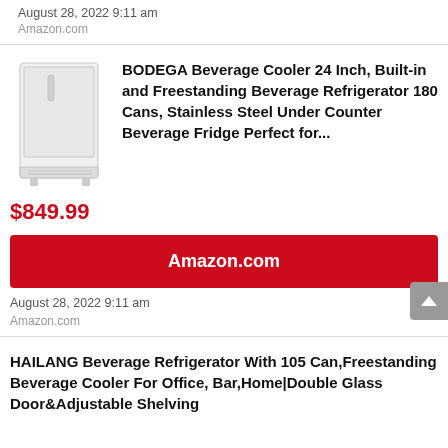August 28, 2022 9:11 am
Amazon.com
[Figure (photo): White beverage cooler refrigerator product image]
BODEGA Beverage Cooler 24 Inch, Built-in and Freestanding Beverage Refrigerator 180 Cans, Stainless Steel Under Counter Beverage Fridge Perfect for...
$849.99
Amazon.com
August 28, 2022 9:11 am
Amazon.com
HAILANG Beverage Refrigerator With 105 Can,Freestanding Beverage Cooler For Office, Bar,Home|Double Glass Door&Adjustable Shelving